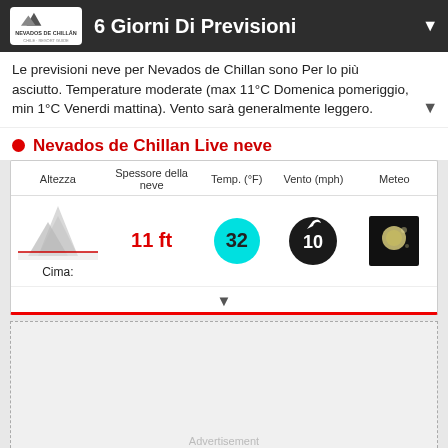6 Giorni Di Previsioni
Le previsioni neve per Nevados de Chillan sono Per lo più asciutto. Temperature moderate (max 11°C Domenica pomeriggio, min 1°C Venerdi mattina). Vento sarà generalmente leggero.
Nevados de Chillan Live neve
| Altezza | Spessore della neve | Temp. (°F) | Vento (mph) | Meteo |
| --- | --- | --- | --- | --- |
| Cima: | 11 ft | 32 | 10 |  |
[Figure (other): Advertisement placeholder area]